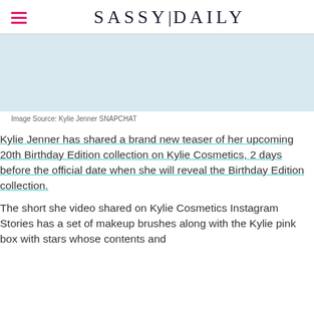SASSY|DAILY
[Figure (photo): Placeholder image area for Kylie Jenner Snapchat photo (image not shown)]
Image Source: Kylie Jenner SNAPCHAT
Kylie Jenner has shared a brand new teaser of her upcoming 20th Birthday Edition collection on Kylie Cosmetics, 2 days before the official date when she will reveal the Birthday Edition collection.
The short she video shared on Kylie Cosmetics Instagram Stories has a set of makeup brushes along with the Kylie pink box with stars whose contents and